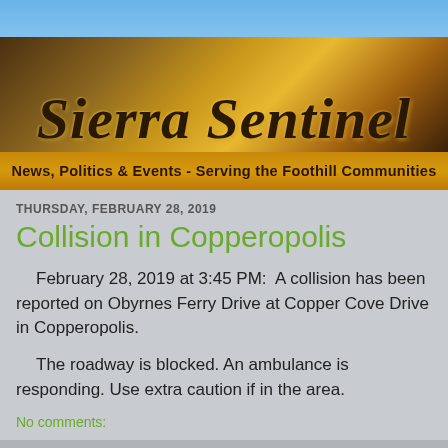[Figure (illustration): Sierra Sentinel newspaper website banner with scenic mountain/foothill landscape background, golden sunset tones, with the masthead title 'Sierra Sentinel' in large italic serif font, and tagline 'News, Politics & Events - Serving the Foothill Communities']
THURSDAY, FEBRUARY 28, 2019
Collision in Copperopolis
February 28, 2019 at 3:45 PM:  A collision has been reported on Obyrnes Ferry Drive at Copper Cove Drive in Copperopolis.
The roadway is blocked. An ambulance is responding. Use extra caution if in the area.
No comments: